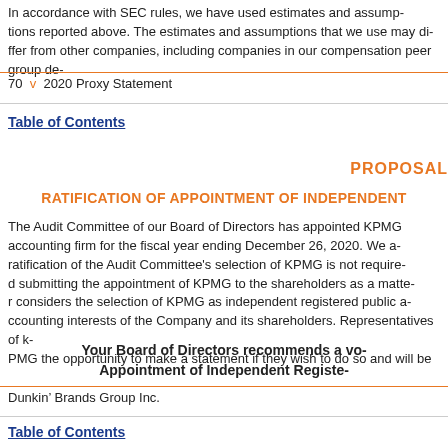In accordance with SEC rules, we have used estimates and assumptions reported above. The estimates and assumptions that we use may differ from other companies, including companies in our compensation peer group depending on their circumstances.
70 v 2020 Proxy Statement
Table of Contents
PROPOSAL
RATIFICATION OF APPOINTMENT OF INDEPENDENT
The Audit Committee of our Board of Directors has appointed KPMG accounting firm for the fiscal year ending December 26, 2020. We are ratification of the Audit Committee's selection of KPMG is not required submitting the appointment of KPMG to the shareholders as a matter considers the selection of KPMG as independent registered public a interests of the Company and its shareholders. Representatives of k the opportunity to make a statement if they wish to do so and will be
Your Board of Directors recommends a vo Appointment of Independent Registe
Dunkin’ Brands Group Inc.
Table of Contents